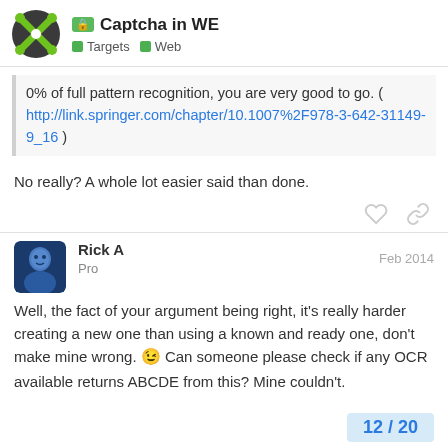Captcha in WE | Targets | Web
0% of full pattern recognition, you are very good to go. ( http://link.springer.com/chapter/10.1007%2F978-3-642-31149-9_16 )
No really? A whole lot easier said than done.
Rick A | Pro | Feb 2014
Well, the fact of your argument being right, it's really harder creating a new one than using a known and ready one, don't make mine wrong. 😉 Can someone please check if any OCR available returns ABCDE from this? Mine couldn't.
12 / 20